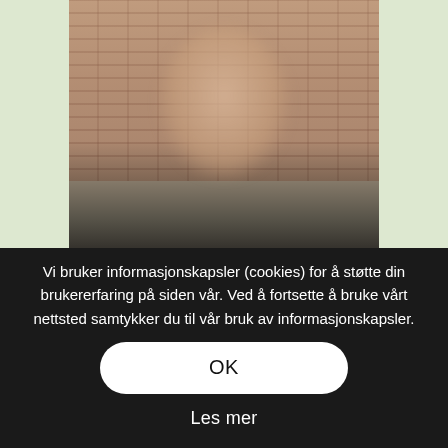[Figure (photo): Blurred photo of a bald bearded man in front of a brick wall, partially faded into a dark background overlay]
Vi bruker informasjonskapsler (cookies) for å støtte din brukererfaring på siden vår. Ved å fortsette å bruke vårt nettsted samtykker du til vår bruk av informasjonskapsler.
OK
Les mer